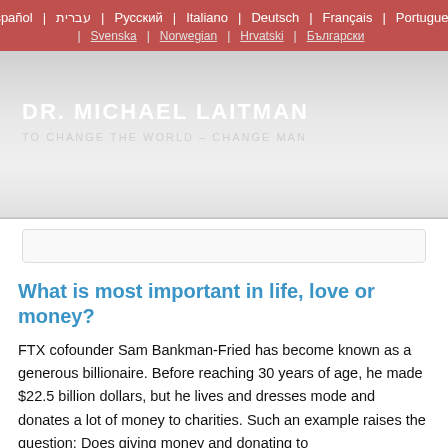Español | עברית | Русский | Italiano | Deutsch | Français | Portuguese | Svenska | Norwegian | Hrvatski | Български
[Figure (screenshot): Website banner for Dr. Michael Laitman blog with subtitle 'TO CHANGE THE WORLD – CHANGE MAN' on a gray gradient background]
What is most important in life, love or money?
FTX cofounder Sam Bankman-Fried has become known as a generous billionaire. Before reaching 30 years of age, he made $22.5 billion dollars, but he lives and dresses mode and donates a lot of money to charities. Such an example raises the question: Does giving money and donating to